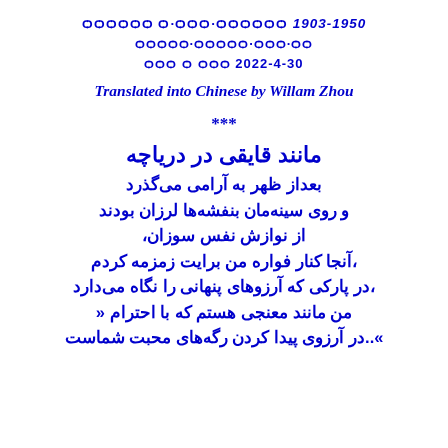ѻѻѻѻѻѻ ѻ·ѻѻѻ·ѻѻѻѻѻѻ 1903-1950
ѻѻѻѻѻ·ѻѻѻѻѻ·ѻѻѻ·ѻѻ
ѻѻѻ ѻ ѻѻѻ 2022-4-30
Translated into Chinese by Willam Zhou
***
مانند قایقی در دریاچه
بعداز ظهر به آرامی می‌گذرد
و روی سینه‌مان بنفشه‌ها لرزان بودند
از نوازش نفس سوزان،
،آنجا کنار فواره من برایت زمزمه کردم
،در پارکی که آرزوهای پنهانی را نگاه می‌دارد
من مانند معنجی هستم که با احترام «
»..در آرزوی پیدا کردن رگه‌های محبت شماست